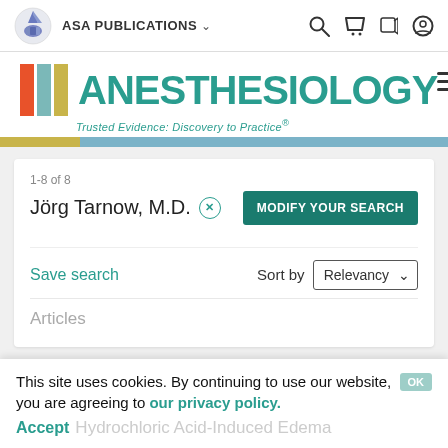ASA PUBLICATIONS
[Figure (logo): Anesthesiology journal logo with colored vertical blocks and teal title text. Tagline: Trusted Evidence: Discovery to Practice®]
1-8 of 8
Jörg Tarnow, M.D.
MODIFY YOUR SEARCH
Save search
Sort by Relevancy
Articles
This site uses cookies. By continuing to use our website, you are agreeing to our privacy policy. Accept
Hydrochloric Acid-Induced Edema